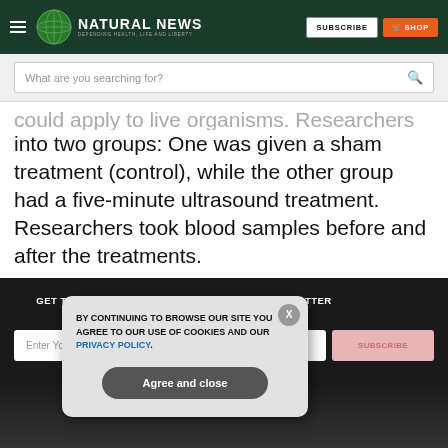NATURAL NEWS — DEFENDING HEALTH, LIFE AND LIBERTY
What are you searching for?
could apply to live organisms. Researchers divided mice into two groups: One was given a sham treatment (control), while the other group had a five-minute ultrasound treatment. Researchers took blood samples before and after the treatments.
GET THE WORLD'S BEST NATURAL HEALTH NEWSLETTER DELIVERED STRAIGHT TO YOUR INBOX
Enter Your Email Address
BY CONTINUING TO BROWSE OUR SITE YOU AGREE TO OUR USE OF COOKIES AND OUR PRIVACY POLICY. Agree and close